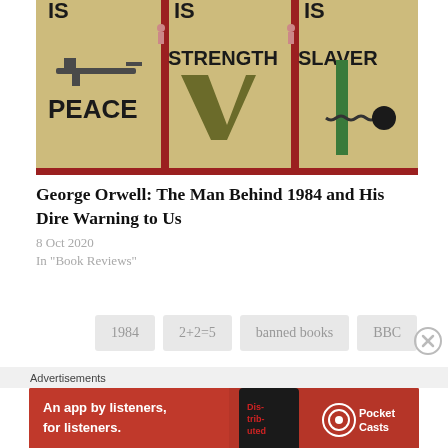[Figure (illustration): Book cover image for George Orwell's 1984 showing text 'WAR IS PEACE', 'IS STRENGTH', 'IS SLAVERY' with a rifle, chain, and graphic elements on a distressed beige background with red accents]
George Orwell: The Man Behind 1984 and His Dire Warning to Us
8 Oct 2020
In "Book Reviews"
1984
2+2=5
banned books
BBC
Advertisements
[Figure (infographic): Pocket Casts advertisement banner: red background with white text 'An app by listeners, for listeners.' with Pocket Casts logo and a phone image showing 'Distributed']